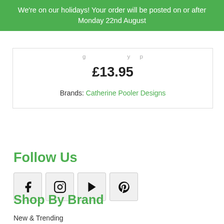We're on our holidays! Your order will be posted on or after Monday 22nd August
£13.95
Brands: Catherine Pooler Designs
Follow Us
[Figure (other): Social media icons: Facebook, Instagram, YouTube, Pinterest]
Shop By Brand
New & Trending
American Crafts
Avery Elle